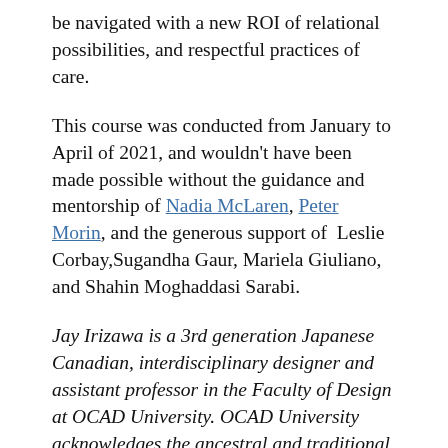be navigated with a new ROI of relational possibilities, and respectful practices of care.
This course was conducted from January to April of 2021, and wouldn't have been made possible without the guidance and mentorship of Nadia McLaren, Peter Morin, and the generous support of  Leslie Corbay,Sugandha Gaur, Mariela Giuliano, and Shahin Moghaddasi Sarabi.
Jay Irizawa is a 3rd generation Japanese Canadian, interdisciplinary designer and assistant professor in the Faculty of Design at OCAD University. OCAD University acknowledges the ancestral and traditional territories of the Mississaugas of the